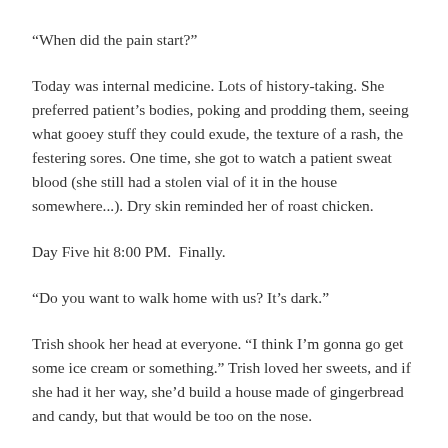“When did the pain start?”
Today was internal medicine. Lots of history-taking. She preferred patient’s bodies, poking and prodding them, seeing what gooey stuff they could exude, the texture of a rash, the festering sores. One time, she got to watch a patient sweat blood (she still had a stolen vial of it in the house somewhere...). Dry skin reminded her of roast chicken.
Day Five hit 8:00 PM.  Finally.
“Do you want to walk home with us? It’s dark.”
Trish shook her head at everyone. “I think I’m gonna go get some ice cream or something.” Trish loved her sweets, and if she had it her way, she’d build a house made of gingerbread and candy, but that would be too on the nose.